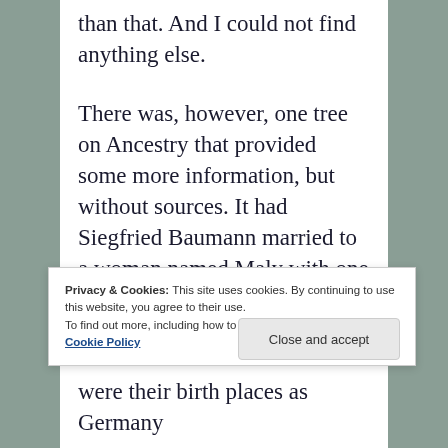than that. And I could not find anything else.
There was, however, one tree on Ancestry that provided some more information, but without sources. It had Siegfried Baumann married to a woman named Maly with one daughter named Margot Baumann.
Privacy & Cookies: This site uses cookies. By continuing to use this website, you agree to their use.
To find out more, including how to control cookies, see here: Cookie Policy
were their birth places as Germany